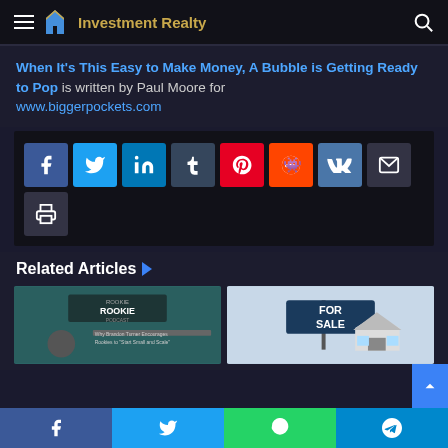Investment Realty
When It's This Easy to Make Money, A Bubble is Getting Ready to Pop is written by Paul Moore for www.biggerpockets.com
[Figure (infographic): Social sharing buttons: Facebook, Twitter, LinkedIn, Tumblr, Pinterest, Reddit, VK, Email, Print]
Related Articles
[Figure (screenshot): Rookie Podcast thumbnail showing Why Brandon Turner Encourages Rookies to Start Small and Scale]
[Figure (photo): For Sale sign illustration with house in background]
Social share bar: Facebook, Twitter, WhatsApp, Telegram